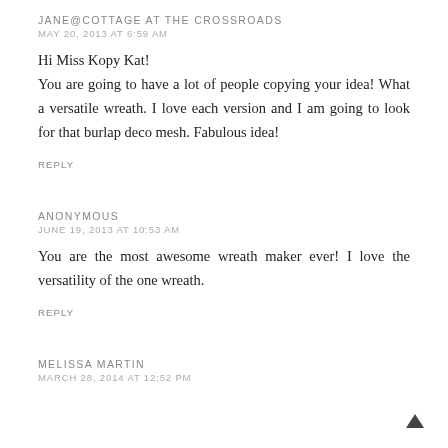JANE@COTTAGE AT THE CROSSROADS
MAY 20, 2013 AT 6:59 AM
Hi Miss Kopy Kat!
You are going to have a lot of people copying your idea! What a versatile wreath. I love each version and I am going to look for that burlap deco mesh. Fabulous idea!
REPLY
ANONYMOUS
JUNE 19, 2013 AT 10:53 AM
You are the most awesome wreath maker ever! I love the versatility of the one wreath.
REPLY
MELISSA MARTIN
MARCH 28, 2014 AT 12:52 PM